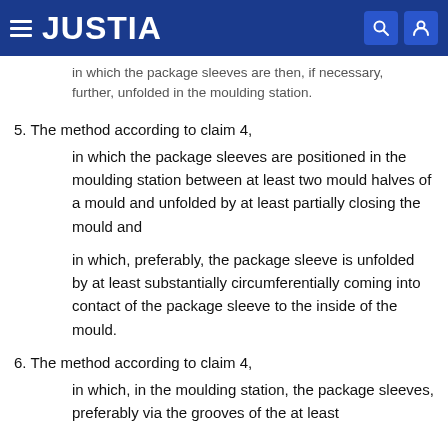JUSTIA
in which the package sleeves are then, if necessary, further, unfolded in the moulding station.
5. The method according to claim 4,
in which the package sleeves are positioned in the moulding station between at least two mould halves of a mould and unfolded by at least partially closing the mould and
in which, preferably, the package sleeve is unfolded by at least substantially circumferentially coming into contact of the package sleeve to the inside of the mould.
6. The method according to claim 4,
in which, in the moulding station, the package sleeves, preferably via the grooves of the at least